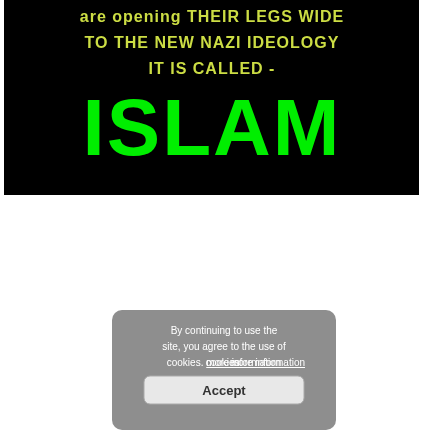[Figure (screenshot): A screenshot showing hateful anti-Islam text on a black background with yellow and green text, overlaid by a cookie consent dialog box.]